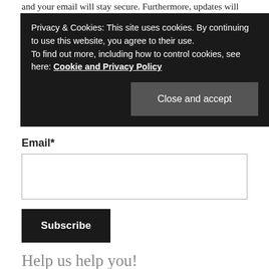and your email will stay secure. Furthermore, updates will
Privacy & Cookies: This site uses cookies. By continuing to use this website, you agree to their use.
To find out more, including how to control cookies, see here: Cookie and Privacy Policy
[Close and accept]
Email*
[Figure (screenshot): Empty email input text field with a border]
[Figure (screenshot): Subscribe button, black background, white bold text]
Help us help you!
Believe it or not, Lonely Speck is my full-time job. It's been an amazing experience for us to see a community develop around learning astrophotography and we're so happy to be a small part of it. I have learned that amazing